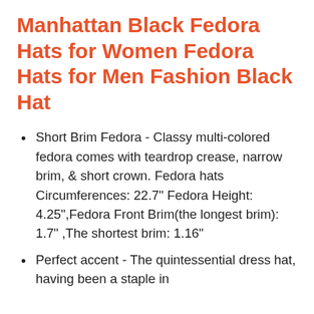Manhattan Black Fedora Hats for Women Fedora Hats for Men Fashion Black Hat
Short Brim Fedora - Classy multi-colored fedora comes with teardrop crease, narrow brim, & short crown. Fedora hats Circumferences: 22.7" Fedora Height: 4.25",Fedora Front Brim(the longest brim): 1.7" ,The shortest brim: 1.16"
Perfect accent - The quintessential dress hat, having been a staple in